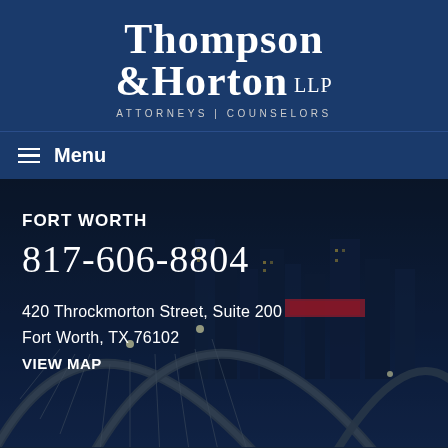Thompson & Horton LLP — ATTORNEYS | COUNSELORS
Menu
[Figure (photo): Nighttime photo of an illuminated arch bridge in Fort Worth, TX with city skyline in background]
FORT WORTH
817-606-8804
420 Throckmorton Street, Suite 200
Fort Worth, TX 76102
VIEW MAP